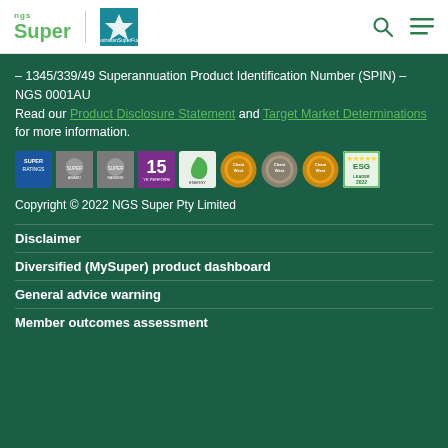NGS Super | Award logo | Search | Menu
– 1345/339/49 Superannuation Product Identification Number (SPIN) – NGS 0001AU
Read our Product Disclosure Statement and Target Market Determinations for more information.
[Figure (logo): Row of award and rating badges: SuperRatings, Superannuation awards logos, 15 year performance logo, Energy efficiency badge, three Chant West gold medals, ESG Leader 2022]
Copyright © 2022 NGS Super Pty Limited
Disclaimer
Diversified (MySuper) product dashboard
General advice warning
Member outcomes assessment